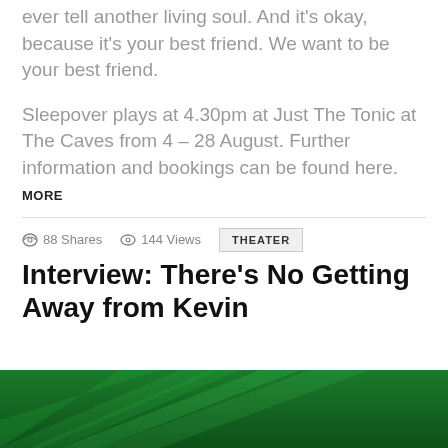ever tell another living soul. And it's okay, because it's your best friend. We want to be your best friend.
Sleepover plays at 4.30pm at Just The Tonic at The Caves from 4 – 28 August. Further information and bookings can be found here.
MORE
88 Shares  144 Views  THEATER
Interview: There's No Getting Away from Kevin
[Figure (photo): Green abstract diagonal light streaks background image, partially visible at bottom of page]